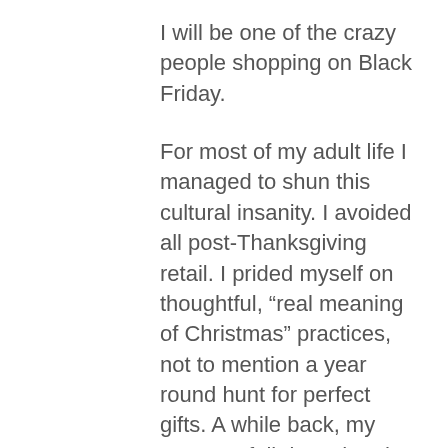I will be one of the crazy people shopping on Black Friday.
For most of my adult life I managed to shun this cultural insanity. I avoided all post-Thanksgiving retail. I prided myself on thoughtful, “real meaning of Christmas” practices, not to mention a year round hunt for perfect gifts. A while back, my return to full-time church leadership and the arrival of my twins smashed both of those high-minded ideals, and my sister J, sensing my despondency, talked me into my first Black Friday outing. Her reasoning was compelling: “One night of hell and